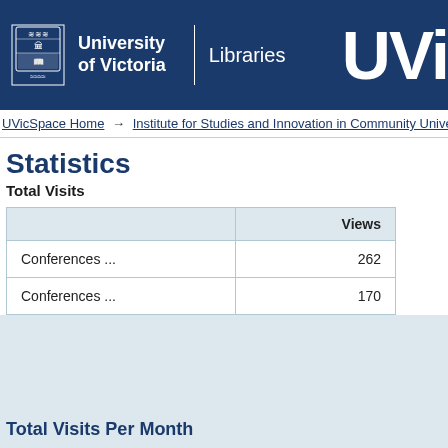University of Victoria Libraries UVi
UVicSpace Home → Institute for Studies and Innovation in Community Unive...
Statistics
Total Visits
|  | Views |
| --- | --- |
| Conferences ... | 262 |
| Conferences ... | 170 |
Total Visits Per Month